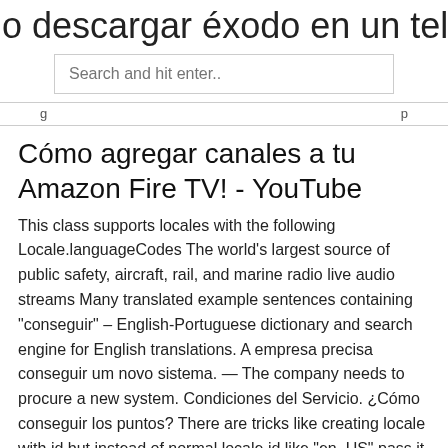o descargar éxodo en un teléfono an
[Figure (screenshot): Search input box with placeholder text 'Search and hit enter..']
Cómo agregar canales a tu Amazon Fire TV! - YouTube
This class supports locales with the following Locale.languageCodes The world's largest source of public safety, aircraft, rail, and marine radio live audio streams Many translated example sentences containing "conseguir" – English-Portuguese dictionary and search engine for English translations. A empresa precisa conseguir um novo sistema. — The company needs to procure a new system. Condiciones del Servicio. ¿Cómo conseguir los puntos? There are tricks like creating locale with id but instead of normal locale id like "en_US" pass it currency code "USD", "EUR", etc., It seems to work for eur and usd in a way I could check it but this is wrong way IMHO.
Youtube TV finalmente disponible